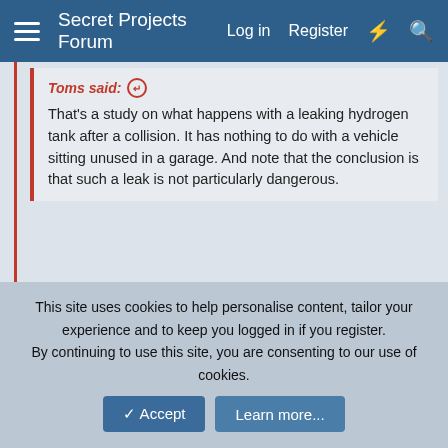Secret Projects Forum | Log in | Register
Toms said: Ⓐ
That's a study on what happens with a leaking hydrogen tank after a collision. It has nothing to do with a vehicle sitting unused in a garage. And note that the conclusion is that such a leak is not particularly dangerous.
Oop's Try this one;-
https://h2tools.org/sites/default/files/2019-08/paper_-_part_1.pdf
“Permeation from compressed gaseous hydrogen storage systems is a current hydrogen safety topic relevant to regulatory and standardisation activities at both global and regional levels.”
“Permeation in the context of CGH2storage systems may be defined as “molecular diffusion through the walls or interstices of a container vessel, piping or interface material”
This site uses cookies to help personalise content, tailor your experience and to keep you logged in if you register.
By continuing to use this site, you are consenting to our use of cookies.
Accept   Learn more...